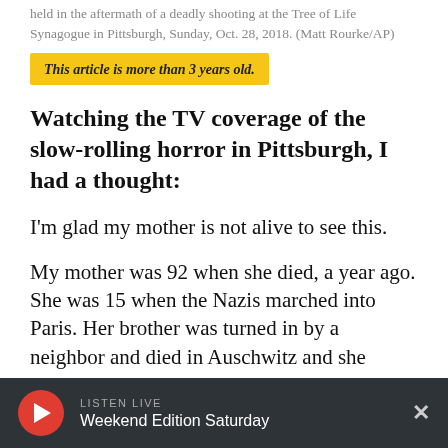held in the aftermath of a deadly shooting at the Tree of Life Synagogue in Pittsburgh, Sunday, Oct. 28, 2018. (Matt Rourke/AP)
This article is more than 3 years old.
Watching the TV coverage of the slow-rolling horror in Pittsburgh, I had a thought:
I'm glad my mother is not alive to see this.
My mother was 92 when she died, a year ago. She was 15 when the Nazis marched into Paris. Her brother was turned in by a neighbor and died in Auschwitz and she barely escaped a transport to the same concentration camp.
LISTEN LIVE — Weekend Edition Saturday